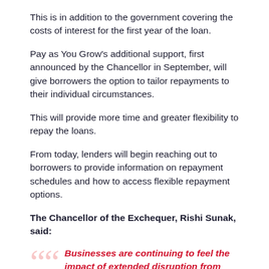This is in addition to the government covering the costs of interest for the first year of the loan.
Pay as You Grow's additional support, first announced by the Chancellor in September, will give borrowers the option to tailor repayments to their individual circumstances.
This will provide more time and greater flexibility to repay the loans.
From today, lenders will begin reaching out to borrowers to provide information on repayment schedules and how to access flexible repayment options.
The Chancellor of the Exchequer, Rishi Sunak, said:
Businesses are continuing to feel the impact of extended disruption from Covid-19, and we're